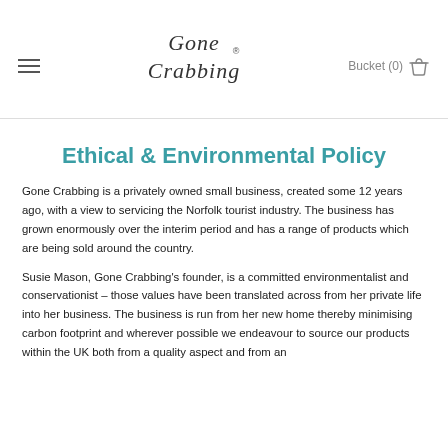Gone Crabbing® | Bucket (0)
Ethical & Environmental Policy
Gone Crabbing is a privately owned small business, created some 12 years ago, with a view to servicing the Norfolk tourist industry. The business has grown enormously over the interim period and has a range of products which are being sold around the country.
Susie Mason, Gone Crabbing's founder, is a committed environmentalist and conservationist – those values have been translated across from her private life into her business. The business is run from her new home thereby minimising carbon footprint and wherever possible we endeavour to source our products within the UK both from a quality aspect and from an